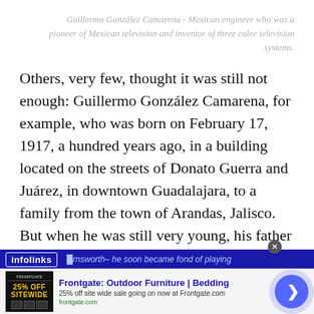Guillermo González Camarena - Mexican engineer who was a pioneer of Mexican television and inventor of three color television systems.
Others, very few, thought it was still not enough: Guillermo González Camarena, for example, who was born on February 17, 1917, a hundred years ago, in a building located on the streets of Donato Guerra and Juárez, in downtown Guadalajara, to a family from the town of Arandas, Jalisco. But when he was still very young, his father fell ill with cancer and the whole family moved to Mexico City, where …arnsworth– he soon became fond of playing…
[Figure (screenshot): Infolinks ad bar and Frontgate outdoor furniture advertisement banner at the bottom of the page]